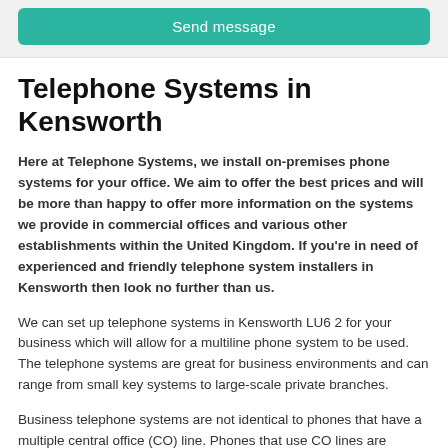[Figure (other): Send message button — teal/green rounded rectangle button with white text]
Telephone Systems in Kensworth
Here at Telephone Systems, we install on-premises phone systems for your office. We aim to offer the best prices and will be more than happy to offer more information on the systems we provide in commercial offices and various other establishments within the United Kingdom. If you're in need of experienced and friendly telephone system installers in Kensworth then look no further than us.
We can set up telephone systems in Kensworth LU6 2 for your business which will allow for a multiline phone system to be used. The telephone systems are great for business environments and can range from small key systems to large-scale private branches.
Business telephone systems are not identical to phones that have a multiple central office (CO) line. Phones that use CO lines are